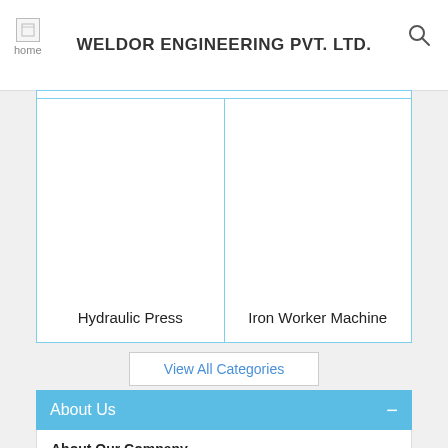WELDOR ENGINEERING PVT. LTD.
[Figure (screenshot): Product grid showing two product cells: Hydraulic Press and Iron Worker Machine, with light blue borders on white background]
Hydraulic Press
Iron Worker Machine
View All Categories
About Us
About Our Company